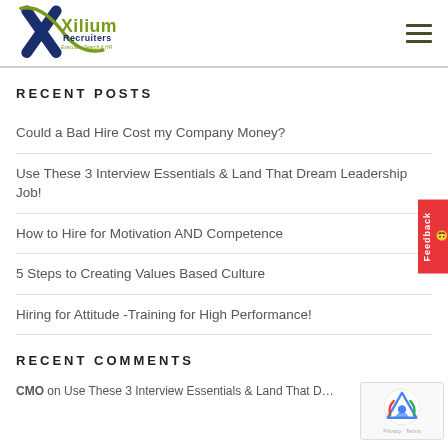Xilium Recruiters — Executive Search & HR
RECENT POSTS
Could a Bad Hire Cost my Company Money?
Use These 3 Interview Essentials & Land That Dream Leadership Job!
How to Hire for Motivation AND Competence
5 Steps to Creating Values Based Culture
Hiring for Attitude -Training for High Performance!
RECENT COMMENTS
CMO on Use These 3 Interview Essentials & Land That D…